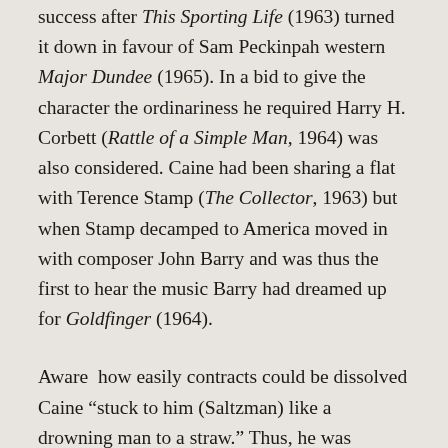success after This Sporting Life (1963) turned it down in favour of Sam Peckinpah western Major Dundee (1965). In a bid to give the character the ordinariness he required Harry H. Corbett (Rattle of a Simple Man, 1964) was also considered. Caine had been sharing a flat with Terence Stamp (The Collector, 1963) but when Stamp decamped to America moved in with composer John Barry and was thus the first to hear the music Barry had dreamed up for Goldfinger (1964).
Aware how easily contracts could be dissolved Caine "stuck to him (Saltzman) like a drowning man to a straw." Thus, he was present when discussions arose over naming the spy – anonymous in the book which was written in the first person. It was decided the character should have a dull name. "Harry" was chosen before...